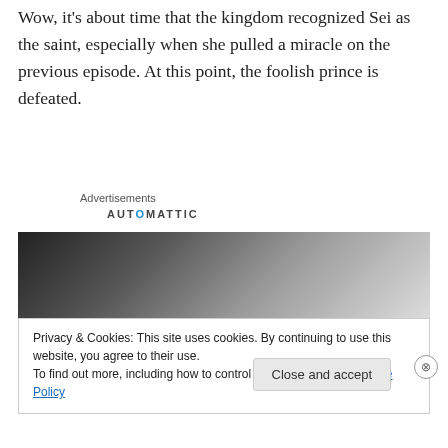Wow, it's about time that the kingdom recognized Sei as the saint, especially when she pulled a miracle on the previous episode. At this point, the foolish prince is defeated.
Advertisements
[Figure (other): AUTOMATTIC logo/advertisement header with dark grey gradient image below]
Privacy & Cookies: This site uses cookies. By continuing to use this website, you agree to their use.
To find out more, including how to control cookies, see here: Cookie Policy